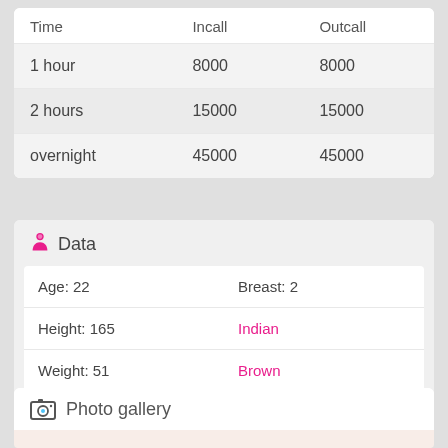| Time | Incall | Outcall |
| --- | --- | --- |
| 1 hour | 8000 | 8000 |
| 2 hours | 15000 | 15000 |
| overnight | 45000 | 45000 |
Data
| Age: 22 | Breast: 2 |
| Height: 165 | Indian |
| Weight: 51 | Brown |
Photo gallery